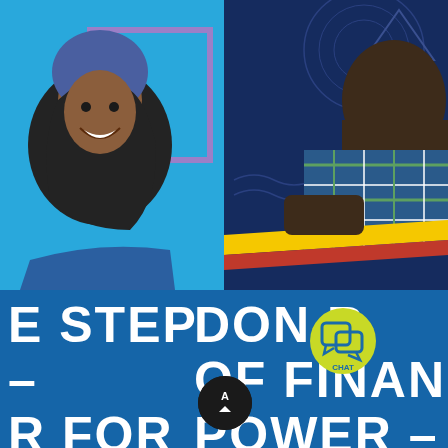[Figure (photo): Left half: young woman in blue hijab and graduation gown smiling, light blue background with purple square outline graphic. Right half: young man in blue/green plaid shirt, dark background with geometric shapes and yellow/red diagonal stripes at bottom.]
E STEP - R FOR  DON R OF FINAN POWER -